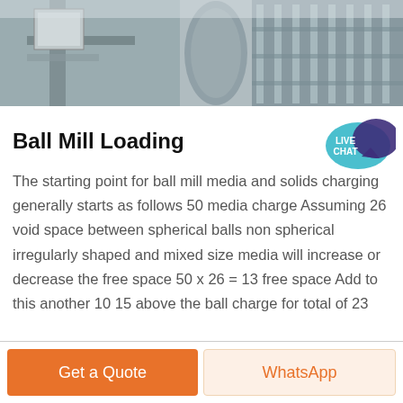[Figure (photo): Industrial machinery photo strip showing ball mill equipment with metal structures and railings]
Ball Mill Loading
[Figure (other): Live Chat speech bubble icon in teal/blue color]
The starting point for ball mill media and solids charging generally starts as follows 50 media charge Assuming 26 void space between spherical balls non spherical irregularly shaped and mixed size media will increase or decrease the free space 50 x 26 = 13 free space Add to this another 10 15 above the ball charge for total of 23
Get Price
Get a Quote
WhatsApp